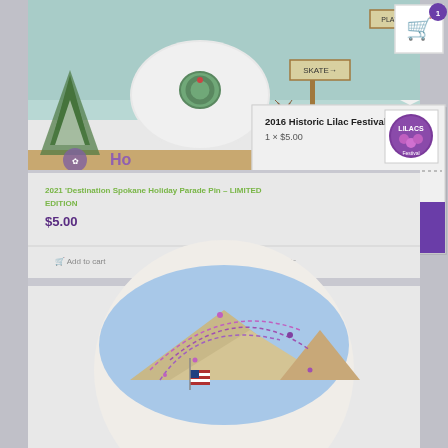[Figure (screenshot): E-commerce webpage screenshot showing a shopping cart popup overlay on a product listing page for Lilac Festival collectible pins. The top portion shows a holiday/Christmas scene pin image. A cart popup displays '2016 Historic Lilac Festival Pin, 1 x $5.00' with a Lilac Festival logo thumbnail. Below shows 'Subtotal: $5.00' and purple buttons for 'View cart' and 'Checkout'. The product listing below shows '2021 Destination Spokane Holiday Parade Pin - LIMITED EDITION' priced at $5.00 with 'Add to cart' and 'Show Details' buttons. The bottom portion shows part of another pin product image with fireworks, mountains, and an American flag design.]